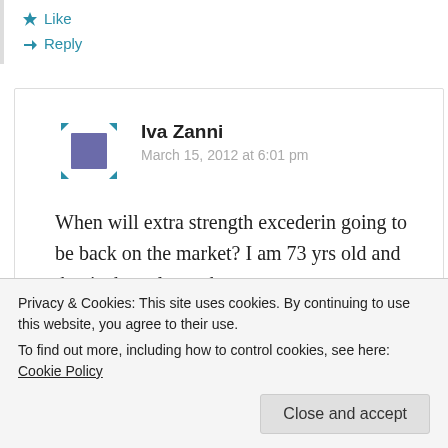★ Like
↪ Reply
[Figure (illustration): User avatar placeholder icon — a blue-purple square with selection handles (resize arrows) at corners]
Iva Zanni
March 15, 2012 at 6:01 pm
When will extra strength excederin going to be back on the market? I am 73 yrs old and that is the only works.
Privacy & Cookies: This site uses cookies. By continuing to use this website, you agree to their use.
To find out more, including how to control cookies, see here: Cookie Policy
Close and accept